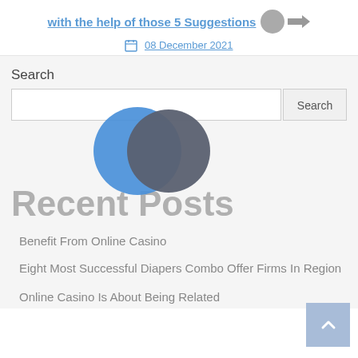with the help of those 5 Suggestions
08 December 2021
[Figure (logo): Overlapping circle logo: blue crescent and dark gray circle forming a yin-yang-like emblem]
Recent Posts
Benefit From Online Casino
Eight Most Successful Diapers Combo Offer Firms In Region
Online Casino Is About Being Related